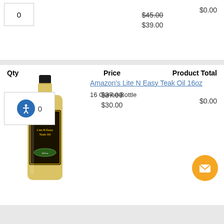0
$45.00 (strikethrough), $39.00
$0.00
Amazon's Lite N Easy Teak Oil 16oz
16 Ounce Bottle
[Figure (photo): Bottle of Amazon's Lite N Easy Teak Oil 16oz with dark label and yellow/golden oil inside]
| Qty | Price | Product Total |
| --- | --- | --- |
| 0 | $37.00 / $30.00 | $0.00 |
[Figure (other): Orange email/contact FAB button in bottom right corner]